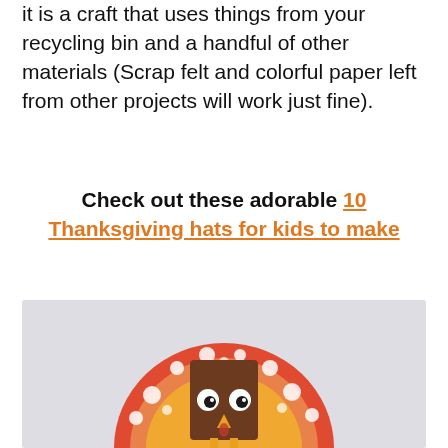it is a craft that uses things from your recycling bin and a handful of other materials (Scrap felt and colorful paper left from other projects will work just fine).
Check out these adorable 10 Thanksgiving hats for kids to make
[Figure (photo): A handmade turkey craft made from a cardboard box decorated as a turkey body with googly eyes and an orange beak, placed on top of a round orange and red polka-dot paper plate forming the turkey's tail feathers, photographed on a light gray background.]